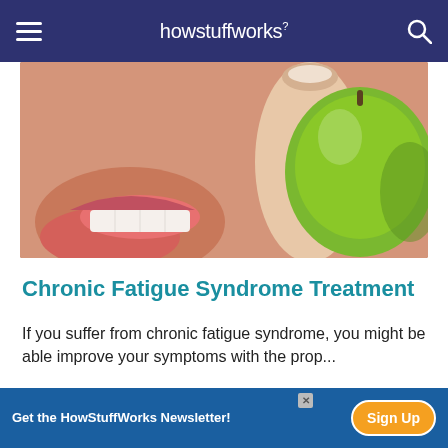howstuffworks
[Figure (photo): Close-up of a person's mouth about to bite into a green apple, held by hand with fingernails visible]
Chronic Fatigue Syndrome Treatment
If you suffer from chronic fatigue syndrome, you might be able improve your symptoms with the prop...
Advertisement
[Figure (other): Advertisement placeholder box (light gray)]
Get the HowStuffWorks Newsletter!
Sign Up